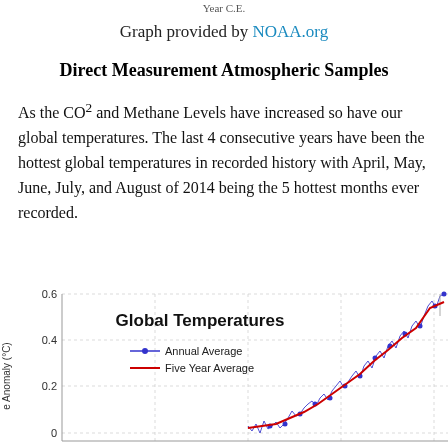Year C.E.
Graph provided by NOAA.org
Direct Measurement Atmospheric Samples
As the CO2 and Methane Levels have increased so have our global temperatures. The last 4 consecutive years have been the hottest global temperatures in recorded history with April, May, June, July, and August of 2014 being the 5 hottest months ever recorded.
[Figure (continuous-plot): Line chart showing global temperature anomaly (°C) over time. Two series: Annual Average (blue dots with lines) and Five Year Average (red line). Shows values from roughly 0 to 0.6°C anomaly, with a strong upward trend in recent years reaching near 0.6°C.]